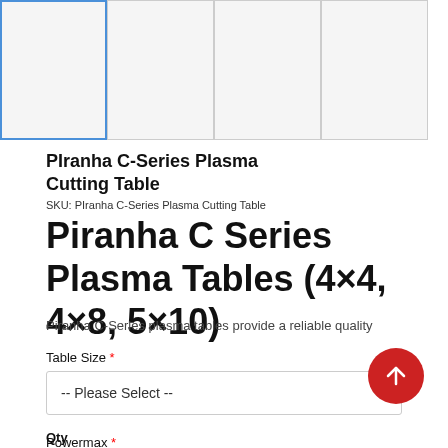[Figure (photo): Four product image thumbnails in a row at the top of the page; the first thumbnail is selected with a blue border, the rest have gray borders.]
PIranha C-Series Plasma Cutting Table
SKU: PIranha C-Series Plasma Cutting Table
Piranha C Series Plasma Tables (4×4, 4×8, 5×10)
Piranha C-Series plasma tables provide a reliable quality
Table Size *
-- Please Select --
Powermax *
-- Please Select --
Qty
1